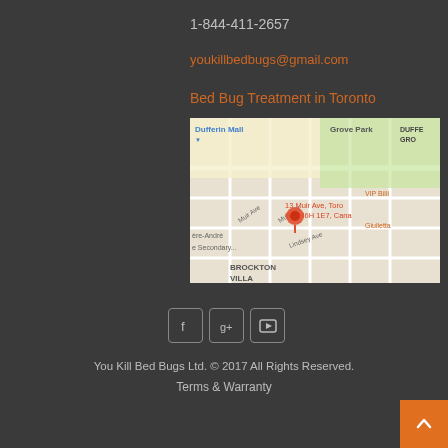1-844-411-2657
youkillbedbugs@gmail.com
Bed Bug Treatment in Toronto
[Figure (map): Google Maps screenshot showing 13 Muir Ave, Toronto, ON M6H 1E7, Canada. Visible landmarks include Dufferin Mall, Grove Park, Brockton Village, and a red location pin on Muir Ave.]
[Figure (other): Social media icons for Facebook, Google+, and YouTube, displayed as outlined square icon buttons.]
You Kill Bed Bugs Ltd. © 2017 All Rights Reserved.
Terms & Warranty